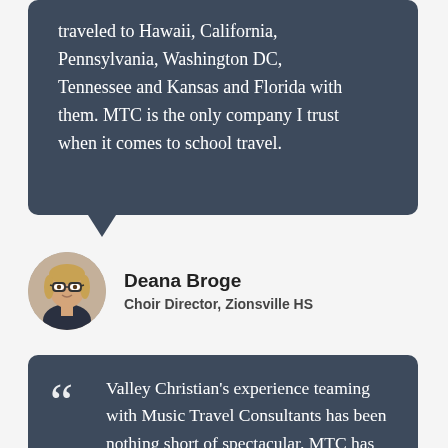traveled to Hawaii, California, Pennsylvania, Washington DC, Tennessee and Kansas and Florida with them. MTC is the only company I trust when it comes to school travel.
[Figure (photo): Portrait photo of Deana Broge, a woman with blonde hair and glasses]
Deana Broge
Choir Director, Zionsville HS
Valley Christian's experience teaming with Music Travel Consultants has been nothing short of spectacular. MTC has proven to be an invaluable partner in the planning and execution of our educational travel experiences. Their